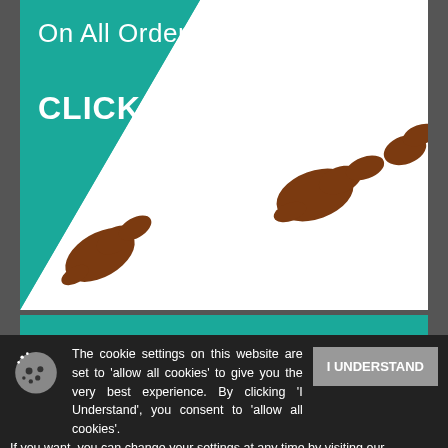[Figure (illustration): Teal promotional banner showing 'On All Orders Over £150' and 'CLICK HERE...' text with diagonal white slash and boot print silhouettes]
On All Orders Over £150
CLICK HERE...
[Figure (illustration): Teal banner with large white bold text 'WE WILL BEAT']
WE WILL BEAT
The cookie settings on this website are set to 'allow all cookies' to give you the very best experience. By clicking 'I Understand', you consent to 'allow all cookies'. If you want, you can change your settings at any time by visiting our